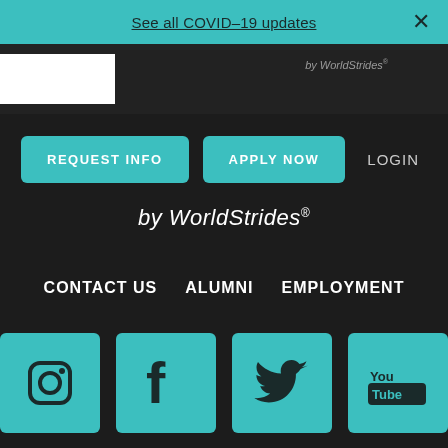See all COVID–19 updates
by WorldStrides®
REQUEST INFO  APPLY NOW  LOGIN
by WorldStrides®
CONTACT US   ALUMNI   EMPLOYMENT
[Figure (screenshot): Four social media icon buttons in teal: Instagram, Facebook, Twitter, YouTube]
[Figure (logo): WorldStrides logo with stacked colored bars (blue, green, yellow) and bold WorldStrides® text]
[Figure (other): Teal mail/envelope button in bottom right corner]